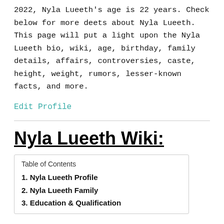2022, Nyla Lueeth's age is 22 years. Check below for more deets about Nyla Lueeth. This page will put a light upon the Nyla Lueeth bio, wiki, age, birthday, family details, affairs, controversies, caste, height, weight, rumors, lesser-known facts, and more.
Edit Profile
Nyla Lueeth Wiki:
| Table of Contents |
| --- |
| 1. Nyla Lueeth Profile |
| 2. Nyla Lueeth Family |
| 3. Education & Qualification |